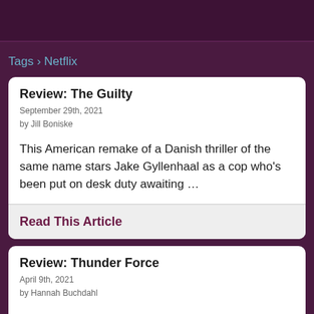Tags › Netflix
Review: The Guilty
September 29th, 2021
by Jill Boniske
This American remake of a Danish thriller of the same name stars Jake Gyllenhaal as a cop who's been put on desk duty awaiting …
Read This Article
Review: Thunder Force
April 9th, 2021
by Hannah Buchdahl
The latest action-adventure comedy from celebrity couple Ben Falcone and Melissa McCarthy is not exactly a Thunder